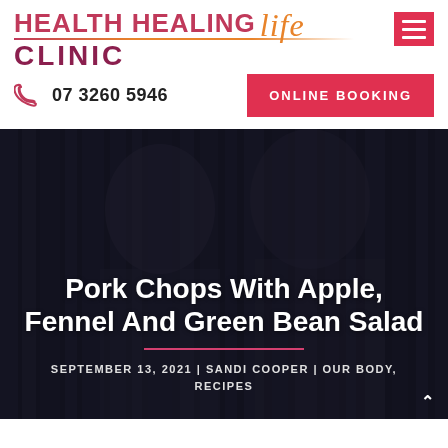[Figure (logo): Health Healing Life Clinic logo with stylized italic 'life' text in orange and bold 'HEALTH HEALING CLINIC' in crimson/plum]
07 3260 5946
ONLINE BOOKING
[Figure (photo): Dark/dimmed photo background showing people dining or in a clinic setting]
Pork Chops With Apple, Fennel And Green Bean Salad
SEPTEMBER 13, 2021 | SANDI COOPER | OUR BODY, RECIPES